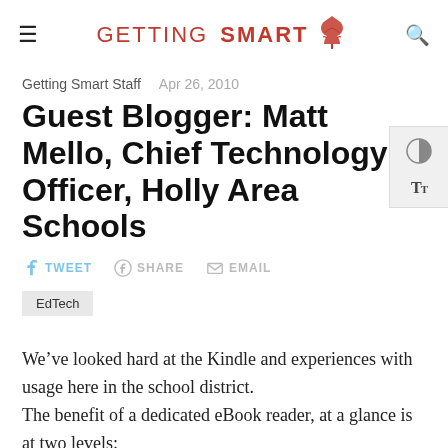GETTING SMART
Getting Smart Staff   Apr 26, 2010
Guest Blogger: Matt Mello, Chief Technology Officer, Holly Area Schools
TWEET   SHARE   EMAIL
EdTech
We've looked hard at the Kindle and experiences with usage here in the school district. The benefit of a dedicated eBook reader, at a glance is at two levels: